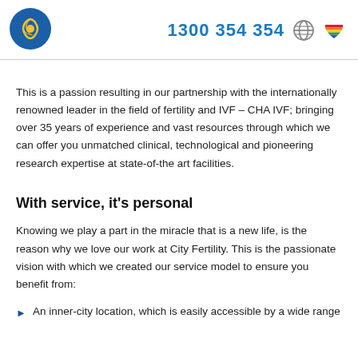1300 354 354
This is a passion resulting in our partnership with the internationally renowned leader in the field of fertility and IVF – CHA IVF; bringing over 35 years of experience and vast resources through which we can offer you unmatched clinical, technological and pioneering research expertise at state-of-the art facilities.
With service, it's personal
Knowing we play a part in the miracle that is a new life, is the reason why we love our work at City Fertility. This is the passionate vision with which we created our service model to ensure you benefit from:
An inner-city location, which is easily accessible by a wide range